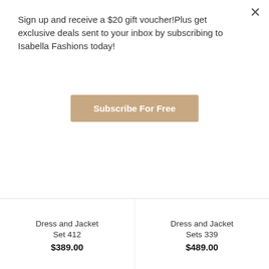Sign up and receive a $20 gift voucher!Plus get exclusive deals sent to your inbox by subscribing to Isabella Fashions today!
Subscribe For Free
Dress and Jacket Set 412
$389.00
Dress and Jacket Sets 339
$489.00
[Figure (photo): A mannequin wearing a colorful multi-colored dress and jacket set with a pearl necklace]
[Figure (photo): A woman wearing a navy blue dress and jacket set]